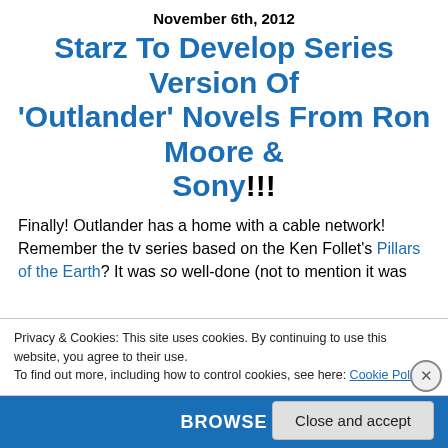November 6th, 2012
Starz To Develop Series Version Of 'Outlander' Novels From Ron Moore & Sony!!!
Finally! Outlander has a home with a cable network! Remember the tv series based on the Ken Follet's Pillars of the Earth? It was so well-done (not to mention it was
Privacy & Cookies: This site uses cookies. By continuing to use this website, you agree to their use.
To find out more, including how to control cookies, see here: Cookie Policy
Close and accept